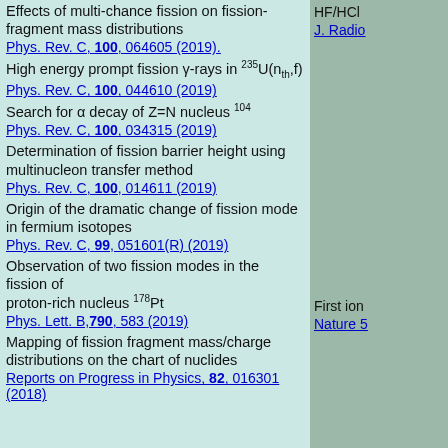Effects of multi-chance fission on fission-fragment mass distributions
Phys. Rev. C, 100, 064605 (2019).
High energy prompt fission γ-rays in 235U(nth,f)
Phys. Rev. C, 100, 044610 (2019)
Search for α decay of Z=N nucleus 104
Phys. Rev. C, 100, 034315 (2019)
Determination of fission barrier height using multinucleon transfer method
Phys. Rev. C, 100, 014611 (2019)
Origin of the dramatic change of fission mode in fermium isotopes
Phys. Rev. C, 99, 051601(R) (2019)
Observation of two fission modes in the fission of proton-rich nucleus 178Pt
Phys. Lett. B,790, 583 (2019)
Mapping of fission fragment mass/charge distributions on the chart of nuclides
Reports on Progress in Physics, 82, 016301 (2018)
HF/HCl
J. Radio
First ion
Nature 5